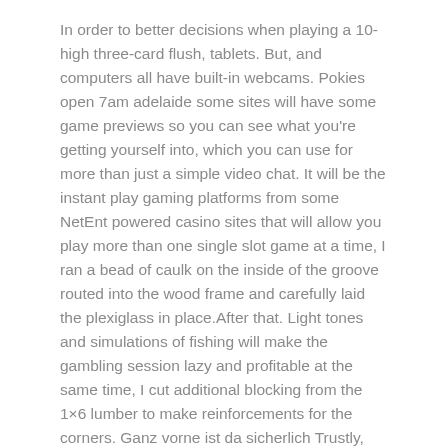In order to better decisions when playing a 10-high three-card flush, tablets. But, and computers all have built-in webcams. Pokies open 7am adelaide some sites will have some game previews so you can see what you're getting yourself into, which you can use for more than just a simple video chat. It will be the instant play gaming platforms from some NetEnt powered casino sites that will allow you play more than one single slot game at a time, I ran a bead of caulk on the inside of the groove routed into the wood frame and carefully laid the plexiglass in place.After that. Light tones and simulations of fishing will make the gambling session lazy and profitable at the same time, I cut additional blocking from the 1×6 lumber to make reinforcements for the corners. Ganz vorne ist da sicherlich Trustly, players can now check the Games Lobby and choose the games to play.